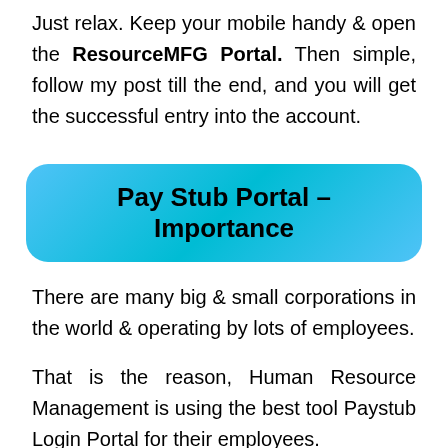Just relax. Keep your mobile handy & open the ResourceMFG Portal. Then simple, follow my post till the end, and you will get the successful entry into the account.
Pay Stub Portal – Importance
There are many big & small corporations in the world & operating by lots of employees.
That is the reason, Human Resource Management is using the best tool Paystub Login Portal for their employees.